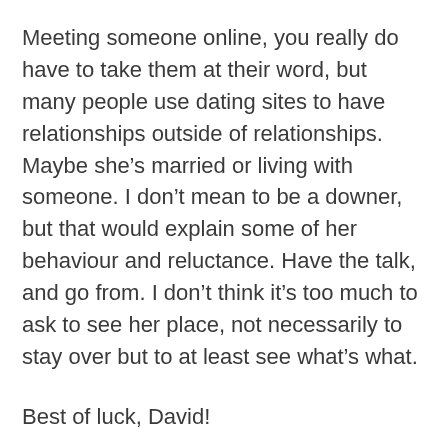Meeting someone online, you really do have to take them at their word, but many people use dating sites to have relationships outside of relationships. Maybe she's married or living with someone. I don't mean to be a downer, but that would explain some of her behaviour and reluctance. Have the talk, and go from. I don't think it's too much to ask to see her place, not necessarily to stay over but to at least see what's what.
Best of luck, David!